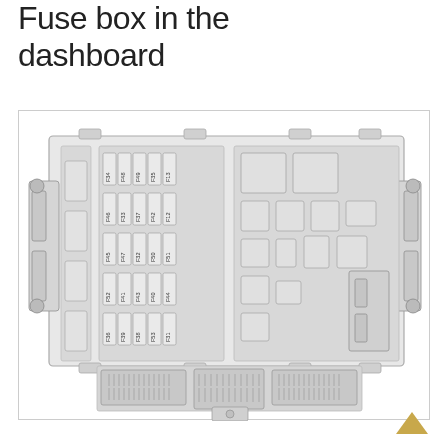Fuse box in the dashboard
[Figure (schematic): Technical schematic diagram of a fuse box for a vehicle dashboard. The diagram shows a detailed top-down view of the fuse box unit with labeled fuses (F12, F13, F31, F32, F33, F34, F35, F36, F37, F38, F39, F40, F41, F42, F43, F44, F45, F46, F47, F48, F49, F50, F51, F52, F53) arranged in a grid pattern on the left-center section, relay blocks and larger components on the right side, mounting brackets on left and right edges, and three connector ports along the bottom.]